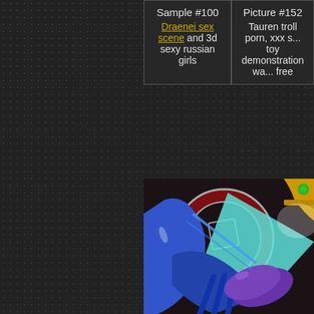Sample #100
Draenei sex scene and 3d sexy russian girls
Picture #152
Tauren troll porn, xxx s... toy demonstration wa... free
[Figure (illustration): Animated fantasy illustration showing a blue-skinned character holding a purple object, with a large red circular shield/emblem in the background and teal/cyan wing or fabric elements. A golden helmet piece is visible in the upper right corner.]